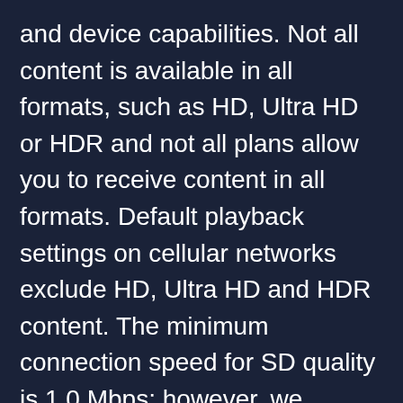and device capabilities. Not all content is available in all formats, such as HD, Ultra HD or HDR and not all plans allow you to receive content in all formats. Default playback settings on cellular networks exclude HD, Ultra HD and HDR content. The minimum connection speed for SD quality is 1.0 Mbps; however, we recommend a faster connection for improved video quality. A download speed of at least 3.0 Mbps per stream is recommended to receive HD content (defined as a resolution of 720p or higher). A download speed of at least 15.0 Mbps per stream is recommended to receive Ultra HD (defined as a resolution of 4K or higher). Y